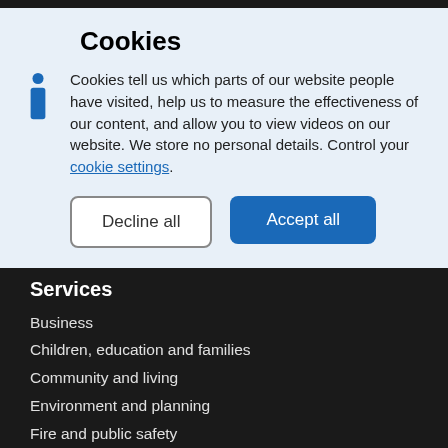Cookies
Cookies tell us which parts of our website people have visited, help us to measure the effectiveness of our content, and allow you to view videos on our website. We store no personal details. Control your cookie settings.
Decline all
Accept all
Services
Business
Children, education and families
Community and living
Environment and planning
Fire and public safety
Leisure and culture
Roads and transport